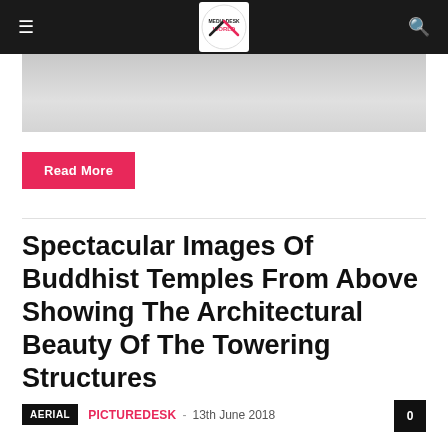Media Desk World navigation bar with hamburger menu, logo, and search icon
[Figure (photo): Partial view of an article image strip showing a light grey/white blurred image]
Read More
Spectacular Images Of Buddhist Temples From Above Showing The Architectural Beauty Of The Towering Structures
AERIAL  PICTUREDESK  -  13th June 2018  0